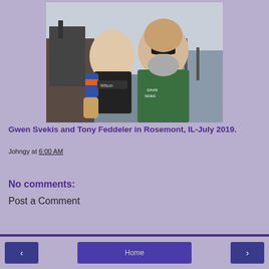[Figure (photo): Two people posing together outdoors near a waterfront. A young woman wearing softball catcher gear (Wilson chest protector, blue and orange jersey) and a bald man with a beard wearing sunglasses and a green t-shirt.]
Gwen Svekis and Tony Feddeler in Rosemont, IL-July 2019.
Johngy at 6:00 AM
Share
No comments:
Post a Comment
‹  Home  ›